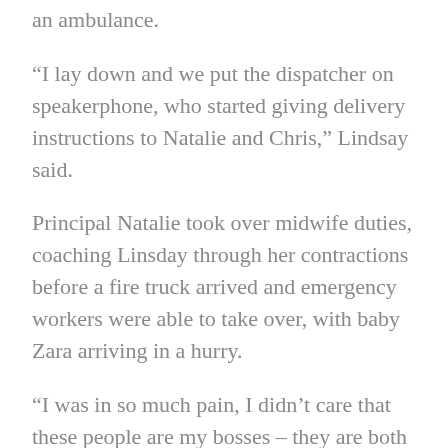an ambulance.
“I lay down and we put the dispatcher on speakerphone, who started giving delivery instructions to Natalie and Chris,” Lindsay said.
Principal Natalie took over midwife duties, coaching Linsday through her contractions before a fire truck arrived and emergency workers were able to take over, with baby Zara arriving in a hurry.
“I was in so much pain, I didn’t care that these people are my bosses – they are both parents,” Lindsay said. “They were my support people.”